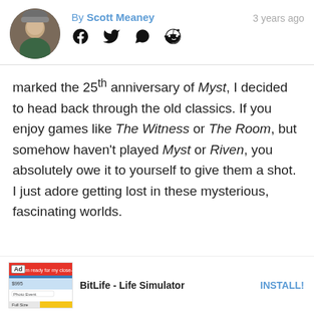By Scott Meaney  3 years ago
[Figure (photo): Round avatar photo of Scott Meaney]
[Figure (infographic): Social share icons: Facebook, Twitter, WhatsApp, Reddit]
marked the 25th anniversary of Myst, I decided to head back through the old classics. If you enjoy games like The Witness or The Room, but somehow haven't played Myst or Riven, you absolutely owe it to yourself to give them a shot. I just adore getting lost in these mysterious, fascinating worlds.
[Figure (screenshot): Ad banner for BitLife - Life Simulator app with INSTALL! call to action]